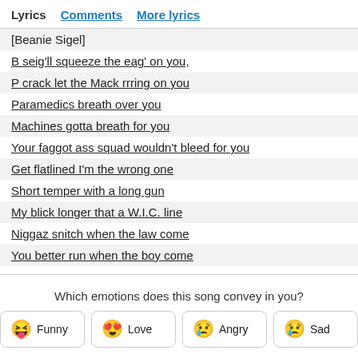Lyrics  Comments  More lyrics
[Beanie Sigel]
B seig'll squeeze the eag' on you,
P crack let the Mack rrring on you
Paramedics breath over you
Machines gotta breath for you
Your faggot ass squad wouldn't bleed for you
Get flatlined I'm the wrong one
Short temper with a long gun
My blick longer that a W.I.C. line
Niggaz snitch when the law come
You better run when the boy come
Which emotions does this song convey in you?
😝 Funny  😍 Love  😢 Angry  😢 Sad